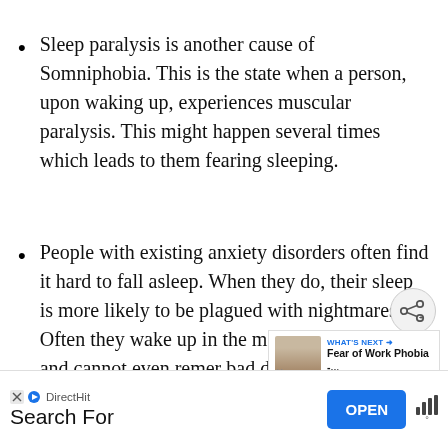Sleep paralysis is another cause of Somniphobia. This is the state when a person, upon waking up, experiences muscular paralysis. This might happen several times which leads to them fearing sleeping.
People with existing anxiety disorders often find it hard to fall asleep. When they do, their sleep is more likely to be plagued with nightmares. Often they wake up in the middle of the night and cannot even remer bad dreams. They find it difficult to fall back
[Figure (screenshot): Share button (circular) and 'WHAT'S NEXT — Fear of Work Phobia -...' overlay widget with thumbnail]
[Figure (infographic): Advertisement banner: DirectHit Search For, with OPEN button]